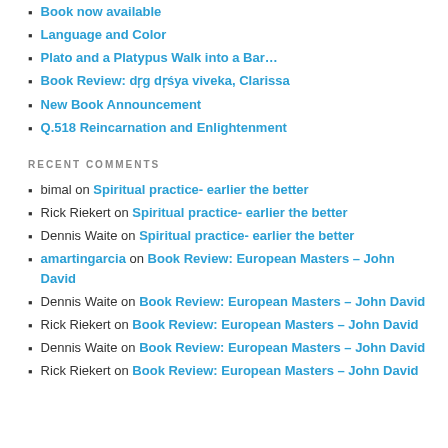Book now available
Language and Color
Plato and a Platypus Walk into a Bar…
Book Review: dṛg dṛśya viveka, Clarissa
New Book Announcement
Q.518 Reincarnation and Enlightenment
RECENT COMMENTS
bimal on Spiritual practice- earlier the better
Rick Riekert on Spiritual practice- earlier the better
Dennis Waite on Spiritual practice- earlier the better
amartingarcia on Book Review: European Masters – John David
Dennis Waite on Book Review: European Masters – John David
Rick Riekert on Book Review: European Masters – John David
Dennis Waite on Book Review: European Masters – John David
Rick Riekert on Book Review: European Masters – John David